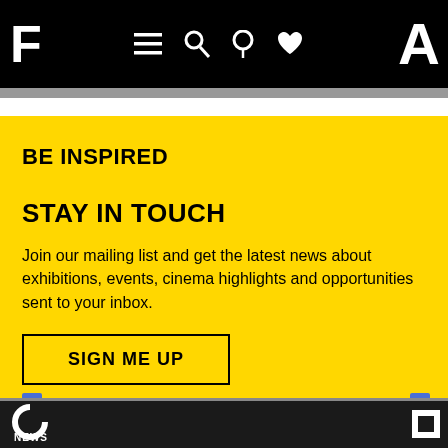F [navigation icons] A
BE INSPIRED
STAY IN TOUCH
Join our mailing list and get the latest news about exhibitions, events, cinema highlights and opportunities sent to your inbox.
SIGN ME UP
NEWS